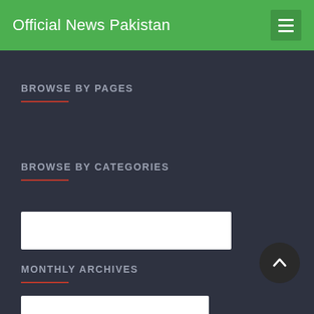Official News Pakistan
BROWSE BY PAGES
BROWSE BY CATEGORIES
MONTHLY ARCHIVES